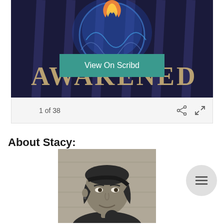[Figure (screenshot): Book cover image with fantasy art showing flames and magical symbols on dark blue background, partially visible text 'AWAKENED', with a teal 'View On Scribd' button overlay, and a navigation bar showing '1 of 38' with share and expand icons]
About Stacy:
[Figure (photo): Black and white headshot photo of a woman (Stacy) with dark hair pulled back, smiling, wearing earrings]